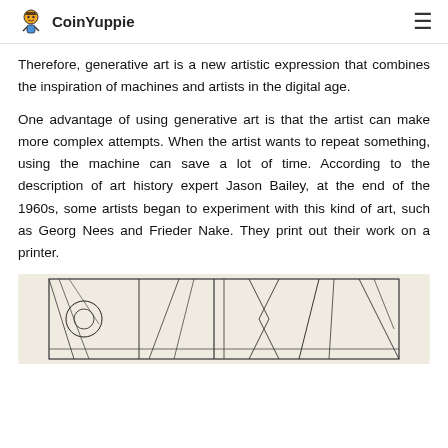CoinYuppie
Therefore, generative art is a new artistic expression that combines the inspiration of machines and artists in the digital age.
One advantage of using generative art is that the artist can make more complex attempts. When the artist wants to repeat something, using the machine can save a lot of time. According to the description of art history expert Jason Bailey, at the end of the 1960s, some artists began to experiment with this kind of art, such as Georg Nees and Frieder Nake. They print out their work on a printer.
[Figure (illustration): Black and white generative art print showing abstract geometric lines, curves, and shapes arranged in a rectangular composition on a light beige background.]